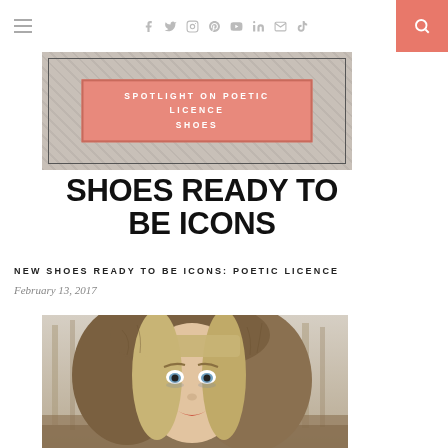Navigation header with hamburger menu, social icons (f, twitter, instagram, pinterest, youtube, linkedin, mail, tiktok), and search button
[Figure (illustration): Hero banner image with 'SPOTLIGHT ON POETIC LICENCE SHOES' text overlay on salmon/coral background]
SHOES READY TO BE ICONS
NEW SHOES READY TO BE ICONS: POETIC LICENCE
February 13, 2017
[Figure (photo): Portrait photo of blonde woman wearing fur-trimmed hood, looking at camera, outdoors in wooded setting]